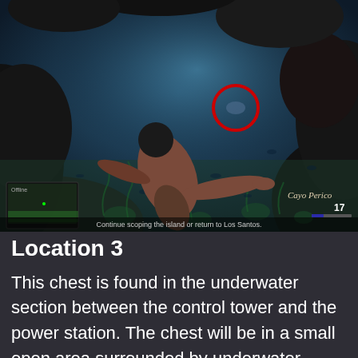[Figure (screenshot): GTA V / GTA Online game screenshot showing a character swimming underwater in a dark rocky underwater environment. A red circle highlights a point of interest in the upper-center area. A minimap is visible in the bottom-left corner, 'Cayo Perico' text in the bottom-right, health/armor bars, and the mission text 'Continue scoping the island or return to Los Santos.' at the bottom center.]
Location 3
This chest is found in the underwater section between the control tower and the power station. The chest will be in a small open area surrounded by underwater grass or weed.